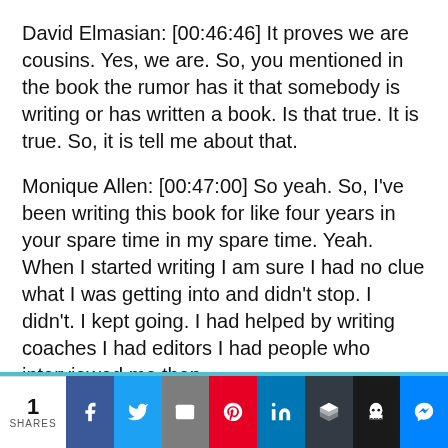David Elmasian: [00:46:46] It proves we are cousins. Yes, we are. So, you mentioned in the book the rumor has it that somebody is writing or has written a book. Is that true. It is true. So, it is tell me about that.
Monique Allen: [00:47:00] So yeah. So, I've been writing this book for like four years in your spare time in my spare time. Yeah. When I started writing I am sure I had no clue what I was getting into and didn't stop. I didn't. I kept going. I had helped by writing coaches I had editors I had people who interviewed me then
1 SHARES | Facebook | Twitter | Email | Pinterest | LinkedIn | Buffer | Ghost | Messenger